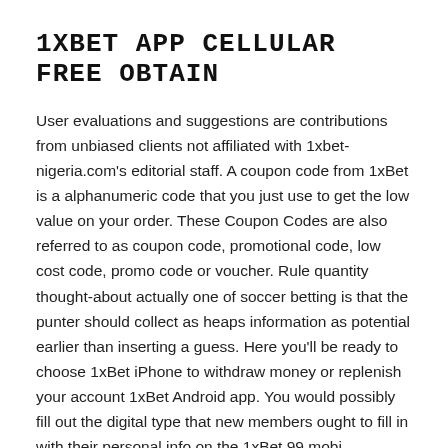1xbet App Cellular Free Obtain
User evaluations and suggestions are contributions from unbiased clients not affiliated with 1xbet-nigeria.com's editorial staff. A coupon code from 1xBet is a alphanumeric code that you just use to get the low value on your order. These Coupon Codes are also referred to as coupon code, promotional code, low cost code, promo code or voucher. Rule quantity thought-about actually one of soccer betting is that the punter should collect as heaps information as potential earlier than inserting a guess. Here you'll be ready to choose 1xBet iPhone to withdraw money or replenish your account 1xBet Android app. You would possibly fill out the digital type that new members ought to fill in with their personal info on the 1xBet 99 mobi registration stage. After a setting pleasant obtain